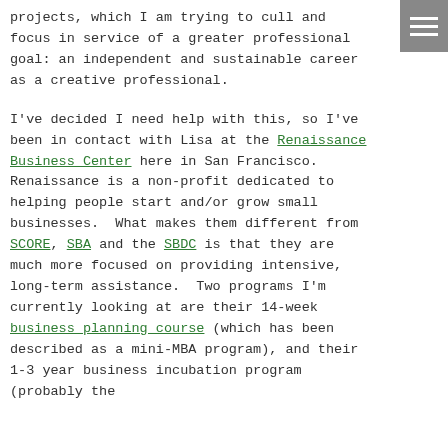projects, which I am trying to cull and focus in service of a greater professional goal: an independent and sustainable career as a creative professional.

I've decided I need help with this, so I've been in contact with Lisa at the Renaissance Business Center here in San Francisco.  Renaissance is a non-profit dedicated to helping people start and/or grow small businesses.  What makes them different from SCORE, SBA and the SBDC is that they are much more focused on providing intensive, long-term assistance.  Two programs I'm currently looking at are their 14-week business planning course (which has been described as a mini-MBA program), and their 1-3 year business incubation program (probably the